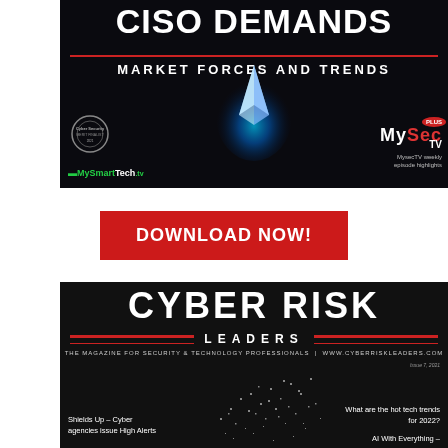[Figure (illustration): Top magazine cover for CISO Demands: Market Forces and Trends with dark background, glowing blue light, Cyber Security logo, MySmartTech.tv and MySec.TV branding]
DOWNLOAD NOW!
[Figure (illustration): Cyber Risk Leaders magazine cover with dark background, large title text, lines and scattered white dots, tagline THE MAGAZINE FOR SECURITY & TECHNOLOGY PROFESSIONALS, www.cyberriskleaders.com, Issue 7 2021, Shields Up - Cyber agencies issue High Alerts, What are the hot tech trends for 2022?, AI With Everything -]